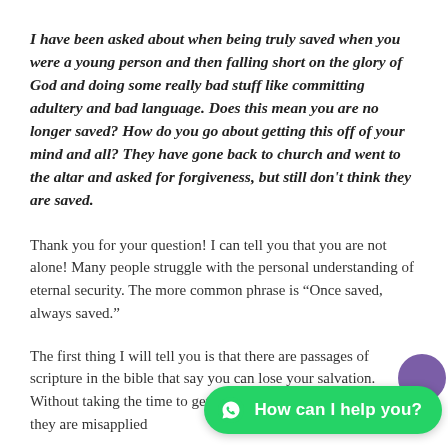I have been asked about when being truly saved when you were a young person and then falling short on the glory of God and doing some really bad stuff like committing adultery and bad language. Does this mean you are no longer saved? How do you go about getting this off of your mind and all? They have gone back to church and went to the altar and asked for forgiveness, but still don't think they are saved.
Thank you for your question! I can tell you that you are not alone! Many people struggle with the personal understanding of eternal security. The more common phrase is “Once saved, always saved.”
The first thing I will tell you is that there are passages of scripture in the bible that say you can lose your salvation. Without taking the time to get into those, I will simply say that they are misapplied
[Figure (other): WhatsApp-style green chat button with 'How can I help you?' text and a purple decorative bubble behind it, overlaid in the bottom-right corner of the page.]